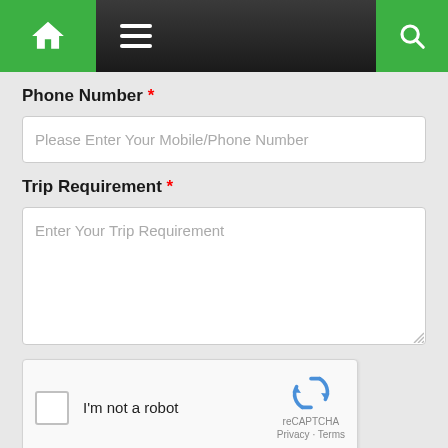[Figure (screenshot): Navigation bar with green home icon on left, hamburger menu, and green search icon on right, dark gradient background]
Phone Number *
Please Enter Your Mobile/Phone Number
Trip Requirement *
Enter Your Trip Requirement
[Figure (other): reCAPTCHA widget with checkbox, 'I'm not a robot' label, reCAPTCHA logo, Privacy and Terms links]
Get Custom Quotes